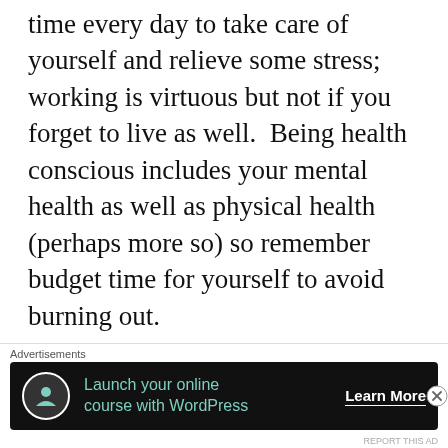time every day to take care of yourself and relieve some stress; working is virtuous but not if you forget to live as well.  Being health conscious includes your mental health as well as physical health (perhaps more so) so remember budget time for yourself to avoid burning out.

Personally, I like putting on some lo-fi music in the evening when I'm unwinding from my day job at Wingstop.  There are several channels to choose from on YouTube
[Figure (infographic): Advertisement banner: 'Launch your online course with WordPress' with Learn More button on dark background]